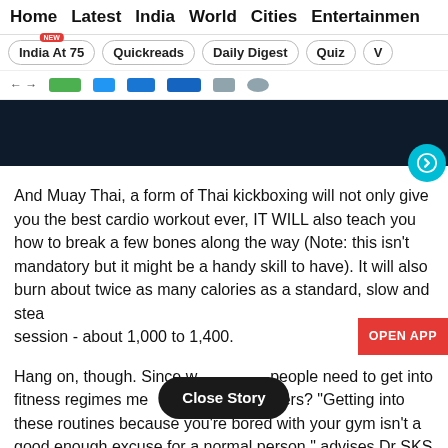Home   Latest   India   World   Cities   Entertainment
India At 75 | Quickreads | Daily Digest | Quiz | V
[Figure (screenshot): Dark navy banner/image area with a teal circular arrow button at bottom-right]
And Muay Thai, a form of Thai kickboxing will not only give you the best cardio workout ever, IT WILL also teach you how to break a few bones along the way (Note: this isn't mandatory but it might be a handy skill to have). It will also burn about twice as many calories as a standard, slow and steady session - about 1,000 to 1,400.
Hang on, though. Since w people need to get into fitness regimes me n and firefighters? "Getting into these routines because you're bored with your gym isn't a good enough excuse for a normal person," advises Dr SKS Marya, chairman, Orthopaedics and Institue of Joint R